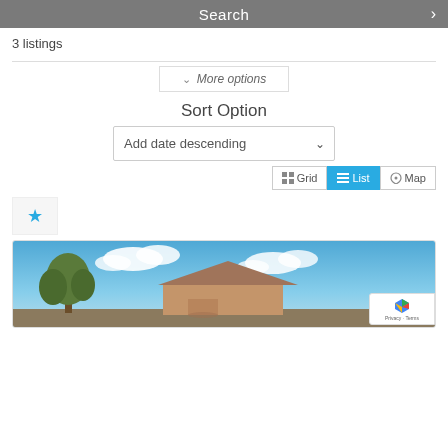Search
3 listings
More options
Sort Option
Add date descending
Grid  List  Map
[Figure (screenshot): Star/favorite icon in a light grey box]
[Figure (photo): Photo of a house with trees and blue sky with clouds]